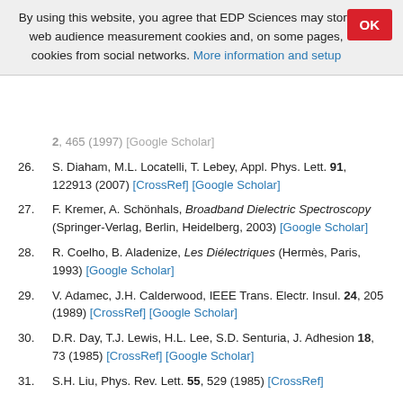By using this website, you agree that EDP Sciences may store web audience measurement cookies and, on some pages, cookies from social networks. More information and setup
25. [continued] 2, 465 (1997) [Google Scholar]
26. S. Diaham, M.L. Locatelli, T. Lebey, Appl. Phys. Lett. 91, 122913 (2007) [CrossRef] [Google Scholar]
27. F. Kremer, A. Schönhals, Broadband Dielectric Spectroscopy (Springer-Verlag, Berlin, Heidelberg, 2003) [Google Scholar]
28. R. Coelho, B. Aladenize, Les Diélectriques (Hermès, Paris, 1993) [Google Scholar]
29. V. Adamec, J.H. Calderwood, IEEE Trans. Electr. Insul. 24, 205 (1989) [CrossRef] [Google Scholar]
30. D.R. Day, T.J. Lewis, H.L. Lee, S.D. Senturia, J. Adhesion 18, 73 (1985) [CrossRef] [Google Scholar]
31. S.H. Liu, Phys. Rev. Lett. 55, 529 (1985) [CrossRef]